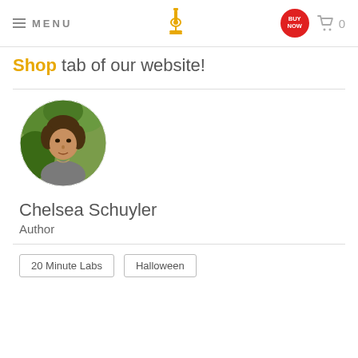MENU | [microscope logo] | BUY NOW | cart 0
Shop tab of our website!
[Figure (photo): Circular profile photo of Chelsea Schuyler, a woman outdoors with greenery in the background]
Chelsea Schuyler
Author
20 Minute Labs
Halloween